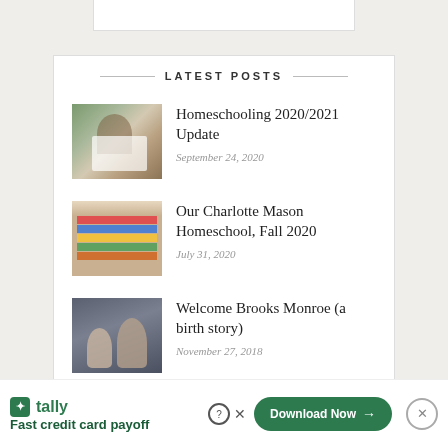LATEST POSTS
Homeschooling 2020/2021 Update — September 24, 2020
Our Charlotte Mason Homeschool, Fall 2020 — July 31, 2020
Welcome Brooks Monroe (a birth story) — November 27, 2018
tally Fast credit card payoff — Download Now